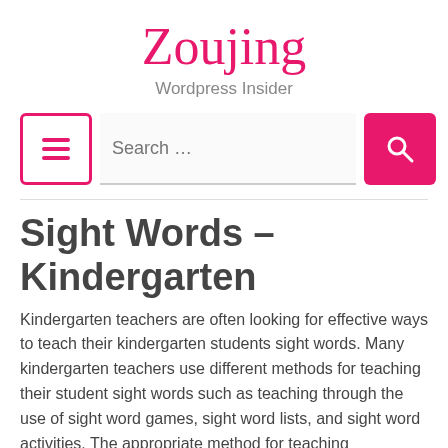Zoujing
Wordpress Insider
[Figure (other): Navigation bar with hamburger menu button, search input field, and pink search button with magnifying glass icon]
Sight Words – Kindergarten
Kindergarten teachers are often looking for effective ways to teach their kindergarten students sight words. Many kindergarten teachers use different methods for teaching their student sight words such as teaching through the use of sight word games, sight word lists, and sight word activities. The appropriate method for teaching kindergartener students these important words